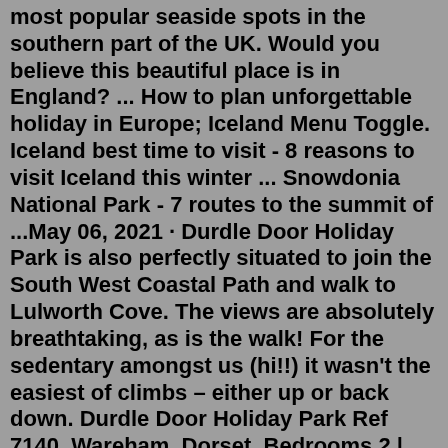most popular seaside spots in the southern part of the UK. Would you believe this beautiful place is in England? ... How to plan unforgettable holiday in Europe; Iceland Menu Toggle. Iceland best time to visit - 8 reasons to visit Iceland this winter ... Snowdonia National Park - 7 routes to the summit of ...May 06, 2021 · Durdle Door Holiday Park is also perfectly situated to join the South West Coastal Path and walk to Lulworth Cove. The views are absolutely breathtaking, as is the walk! For the sedentary amongst us (hi!!) it wasn't the easiest of climbs – either up or back down. Durdle Door Holiday Park Ref 7140. Wareham, Dorset. Bedrooms 2 | Sleeps 5 | Pets | Groups. (49 reviews) A stunning 2 bed luxury caravan overlooking the hills at Durdle Door Holiday Park on the World Heritage Jurassic Coast. Fantastic walks and breathtaking scenery right on the doorstep and a short distance to Lulworth Cove. Sat on Durdle Door Holiday Park this Brand New 2 bedroom holiday home has en suite shower rooms to both bedrooms. The kitchen has integral appliances